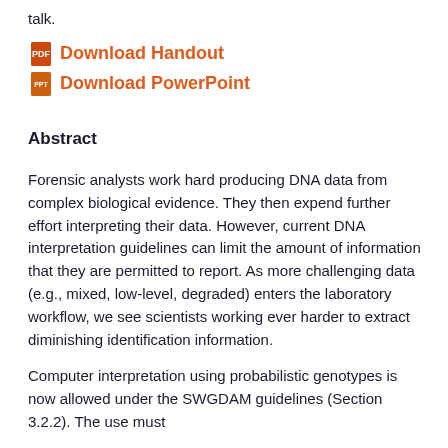talk.
Download Handout
Download PowerPoint
Abstract
Forensic analysts work hard producing DNA data from complex biological evidence. They then expend further effort interpreting their data. However, current DNA interpretation guidelines can limit the amount of information that they are permitted to report. As more challenging data (e.g., mixed, low-level, degraded) enters the laboratory workflow, we see scientists working ever harder to extract diminishing identification information.
Computer interpretation using probabilistic genotypes is now allowed under the SWGDAM guidelines (Section 3.2.2). The use must...